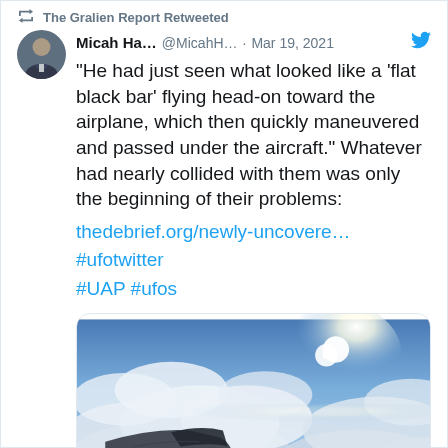The Gralien Report Retweeted
Micah Ha... @MicahH… · Mar 19, 2021
"He had just seen what looked like a 'flat black bar' flying head-on toward the airplane, which then quickly maneuvered and passed under the aircraft." Whatever had nearly collided with them was only the beginning of their problems: thedebrief.org/newly-uncovere… #ufotwitter #UAP #ufos
[Figure (photo): Aerial photograph showing an airplane wing above clouds with bright sunlight in the background]
thedebrief.org
Newly Uncovered NASA Reports Reveal Pilot Encounters with UFOs - The Debrief